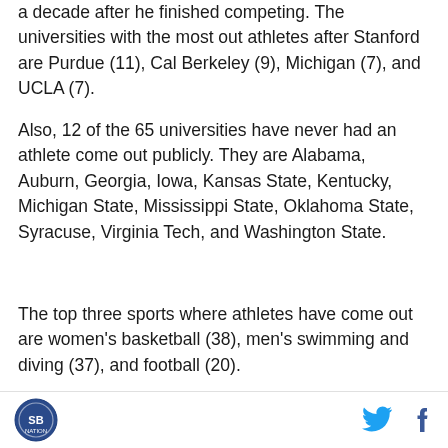a decade after he finished competing. The universities with the most out athletes after Stanford are Purdue (11), Cal Berkeley (9), Michigan (7), and UCLA (7).
Also, 12 of the 65 universities have never had an athlete come out publicly. They are Alabama, Auburn, Georgia, Iowa, Kansas State, Kentucky, Michigan State, Mississippi State, Oklahoma State, Syracuse, Virginia Tech, and Washington State.
The top three sports where athletes have come out are women's basketball (38), men's swimming and diving (37), and football (20).
“That’s interesting. That’s higher than I would expect [for football],” said Dorien Bryant, who came out six